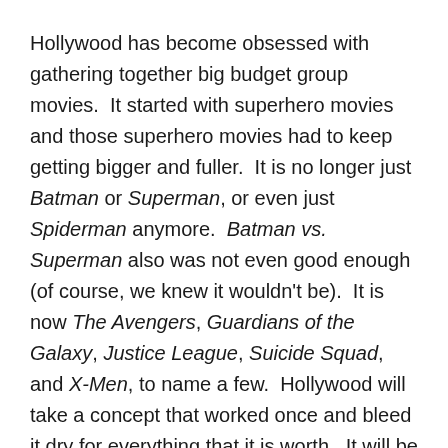Hollywood has become obsessed with gathering together big budget group movies.  It started with superhero movies and those superhero movies had to keep getting bigger and fuller.  It is no longer just Batman or Superman, or even just Spiderman anymore.  Batman vs. Superman also was not even good enough (of course, we knew it wouldn't be).  It is now The Avengers, Guardians of the Galaxy, Justice League, Suicide Squad, and X-Men, to name a few.  Hollywood will take a concept that worked once and bleed it dry for everything that it is worth.  It will be purged of all entertainment value.  All that will be left behind is an overdone, and overblown metastasized mess that should be cut off because it is destroying the host that is the superhero genre.
What does this have to do with Ready Player One?